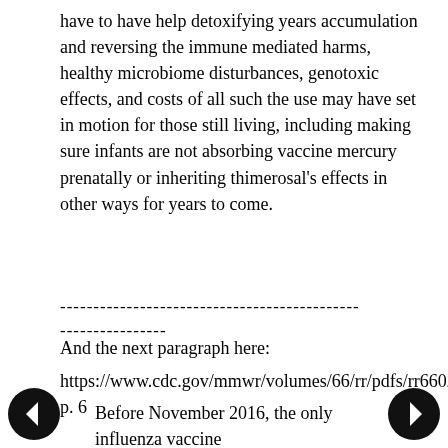have to have help detoxifying years accumulation and reversing the immune mediated harms, healthy microbiome disturbances, genotoxic effects, and costs of all such the use may have set in motion for those still living, including making sure infants are not absorbing vaccine mercury prenatally or inheriting thimerosal's effects in other ways for years to come.
-------------------------------------------------------------
----------------
And the next paragraph here:
https://www.cdc.gov/mmwr/volumes/66/rr/pdfs/rr6602.pdf p. 6
Before November 2016, the only influenza vaccine